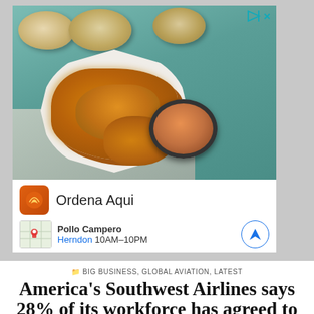[Figure (photo): Advertisement for Pollo Campero showing fried chicken pieces on a white octagonal plate with a dipping sauce bowl, bread rolls in background on a teal surface. Ad shows 'Ordena Aqui' branding with store locator for Herndon location 10AM-10PM.]
BIG BUSINESS, GLOBAL AVIATION, LATEST
America's Southwest Airlines says 28% of its workforce has agreed to leave the company